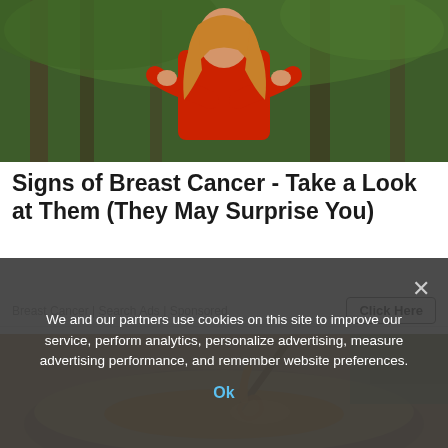[Figure (photo): Woman in red shirt in forest, holding her chest/arms crossed]
Signs of Breast Cancer - Take a Look at Them (They May Surprise You)
Breast Cancer | Search Ads | Sponsored
Click Here
[Figure (photo): Close-up of honey being poured from a honey dipper into a wooden bowl]
We and our partners use cookies on this site to improve our service, perform analytics, personalize advertising, measure advertising performance, and remember website preferences.
Ok